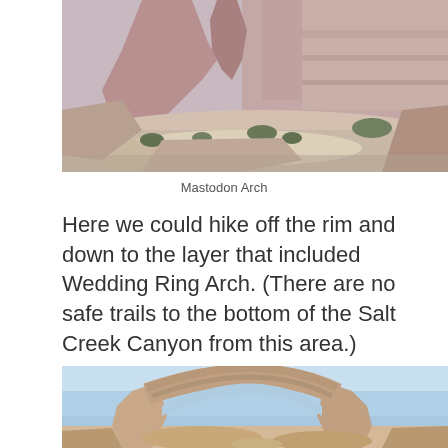[Figure (photo): Photograph of Mastodon Arch area - red rock desert landscape with tall sandstone formations, desert scrub vegetation, and canyon terrain viewed from an elevated perspective.]
Mastodon Arch
Here we could hike off the rim and down to the layer that included Wedding Ring Arch. (There are no safe trails to the bottom of the Salt Creek Canyon from this area.)
[Figure (photo): Photograph of a large natural stone arch (Wedding Ring Arch) with blue sky visible through the arch opening, and sandy desert terrain below.]